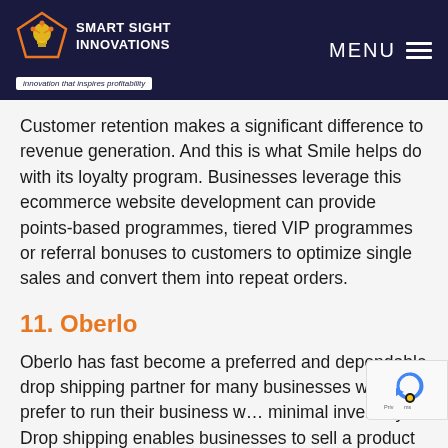Smart Sight Innovations — Innovation that inspires profitability | MENU
Customer retention makes a significant difference to revenue generation. And this is what Smile helps do with its loyalty program. Businesses leverage this ecommerce website development can provide points-based programmes, tiered VIP programmes or referral bonuses to customers to optimize single sales and convert them into repeat orders.
11. Oberlo
Oberlo has fast become a preferred and dependable drop shipping partner for many businesses who prefer to run their business with minimal inventory. Drop shipping enables businesses to sell a product listed on their store, directly from the supplier without the buyer knowing.